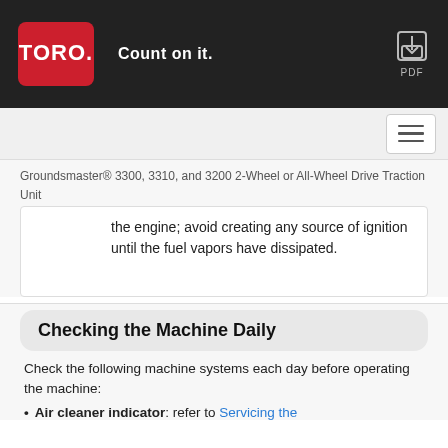TORO. Count on it.
the engine; avoid creating any source of ignition until the fuel vapors have dissipated.
Groundsmaster® 3300, 3310, and 3200 2-Wheel or All-Wheel Drive Traction Unit
Checking the Machine Daily
Check the following machine systems each day before operating the machine:
Air cleaner indicator: refer to Servicing the